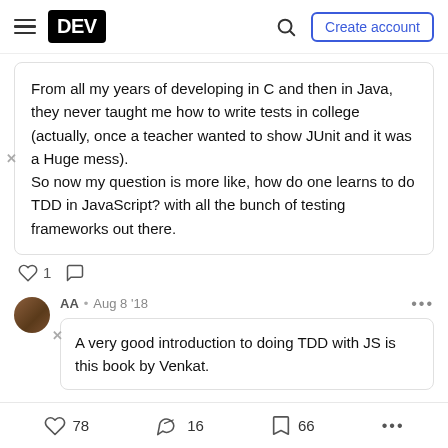DEV — Create account
From all my years of developing in C and then in Java, they never taught me how to write tests in college (actually, once a teacher wanted to show JUnit and it was a Huge mess).
So now my question is more like, how do one learns to do TDD in JavaScript? with all the bunch of testing frameworks out there.
♡ 1  ○
AA • Aug 8 '18
A very good introduction to doing TDD with JS is this book by Venkat.
♡ 78   16   66   ...